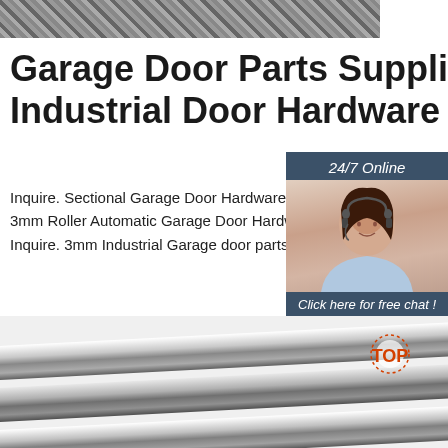[Figure (photo): Metal corrugated/angled steel material texture at top]
Garage Door Parts Supplier, Industrial Door Hardware
Inquire. Sectional Garage Door Hardware 16x8,18x8 for 8 feet high door two cars. 1" 3mm Roller Automatic Garage Door Hardware Stamping Steel Parts Flexible Driv. Inquire. 3mm Industrial Garage door parts 1 inch Tubular shaft Steel ...
[Figure (illustration): 24/7 Online chat widget with woman wearing headset, Click here for free chat!, QUOTATION button]
[Figure (photo): Steel rods/tubes photographed at an angle at bottom of page, with TOP badge in lower right corner]